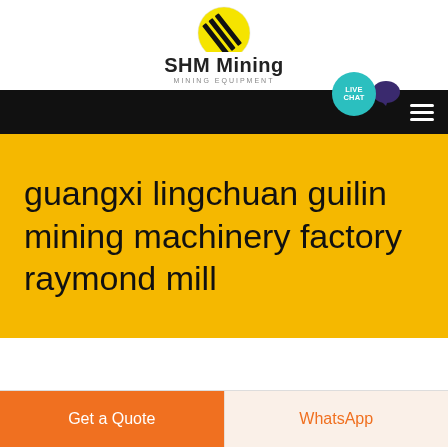[Figure (logo): SHM Mining logo with yellow circle and black diagonal stripes, with company name 'SHM Mining' and subtitle 'MINING EQUIPMENT']
SHM Mining MINING EQUIPMENT
[Figure (infographic): Black navigation bar with hamburger menu icon on right and teal 'LIVE CHAT' bubble with purple speech bubble icon]
guangxi lingchuan guilin mining machinery factory raymond mill
Get a Quote
WhatsApp